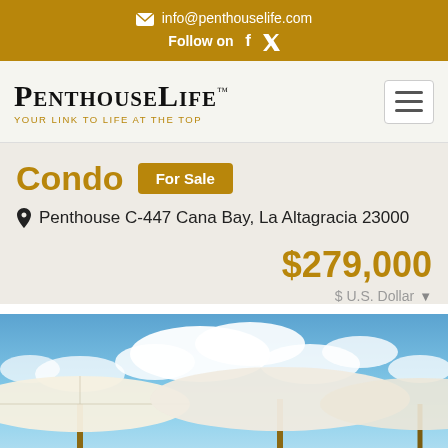info@penthouselife.com  Follow on  f  twitter
PenthouseLife™  YOUR LINK TO LIFE AT THE TOP
Condo  For Sale
Penthouse C-447 Cana Bay, La Altagracia 23000
$279,000
$ U.S. Dollar
[Figure (photo): Outdoor poolside area with large cream-colored beach umbrellas against a blue sky with white clouds]